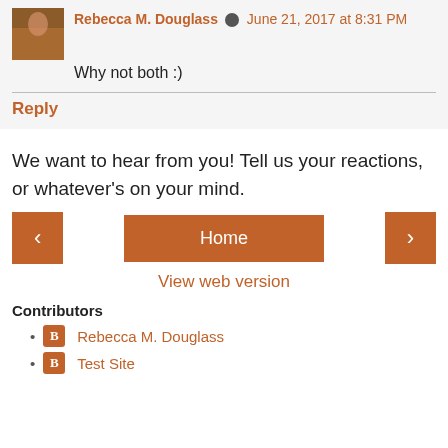Rebecca M. Douglass  June 21, 2017 at 8:31 PM
Why not both :)
Reply
We want to hear from you! Tell us your reactions, or whatever's on your mind.
‹  Home  ›
View web version
Contributors
Rebecca M. Douglass
Test Site